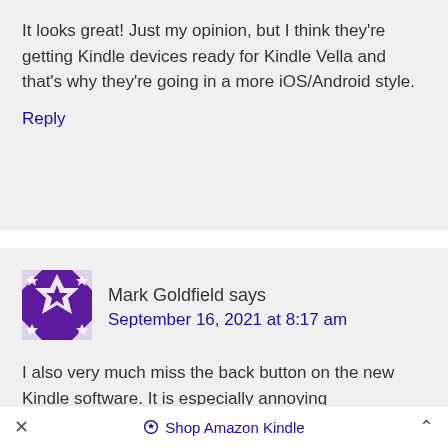It looks great! Just my opinion, but I think they're getting Kindle devices ready for Kindle Vella and that's why they're going in a more iOS/Android style.
Reply
Mark Goldfield says
September 16, 2021 at 8:17 am
I also very much miss the back button on the new Kindle software. It is especially annoying
× Shop Amazon Kindle ^